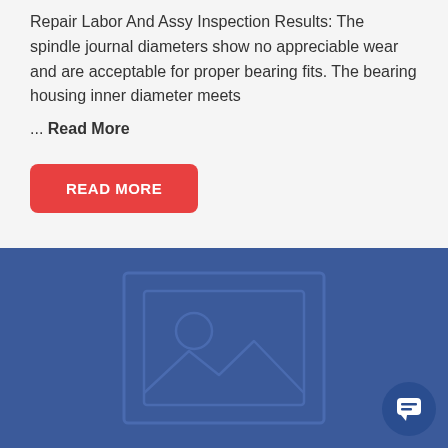Repair Labor And Assy Inspection Results: The spindle journal diameters show no appreciable wear and are acceptable for proper bearing fits. The bearing housing inner diameter meets ... Read More
[Figure (illustration): Blue placeholder image block with a generic image icon (mountain/landscape with sun circle) centered on a dark blue background, with a circular chat button overlay at bottom right.]